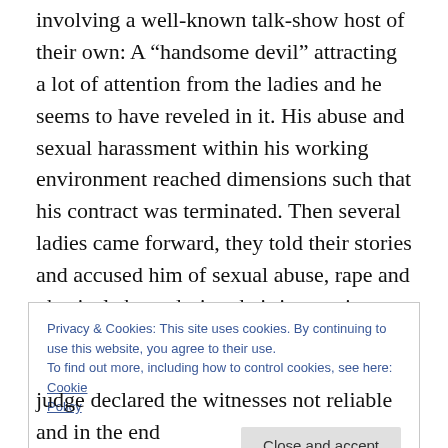Lately, the media in Canada had a ball with a case involving a well-known talk-show host of their own: A “handsome devil” attracting a lot of attention from the ladies and he seems to have reveled in it. His abuse and sexual harassment within his working environment reached dimensions such that his contract was terminated. Then several ladies came forward, they told their stories and accused him of sexual abuse, rape and physical abuse during their interactions. What I cannot understand is that it was revealed in court that one of them had sent him e-mails after some horrible experiences
Privacy & Cookies: This site uses cookies. By continuing to use this website, you agree to their use.
To find out more, including how to control cookies, see here: Cookie Policy
Close and accept
judge declared the witnesses not reliable and in the end